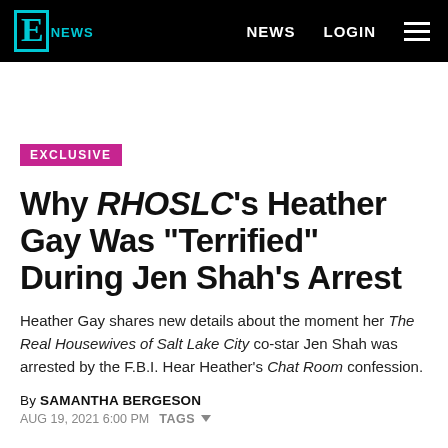E NEWS | NEWS | LOGIN
EXCLUSIVE
Why RHOSLC's Heather Gay Was "Terrified" During Jen Shah's Arrest
Heather Gay shares new details about the moment her The Real Housewives of Salt Lake City co-star Jen Shah was arrested by the F.B.I. Hear Heather's Chat Room confession.
By SAMANTHA BERGESON
AUG 19, 2021 6:00 PM  TAGS